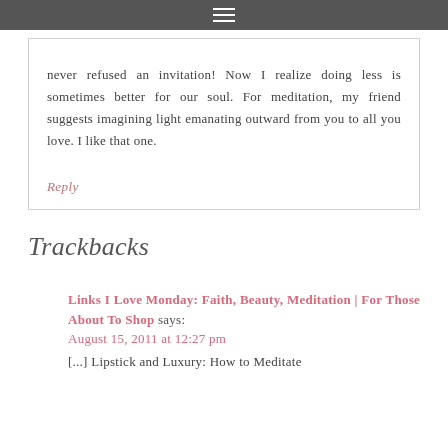≡
never refused an invitation! Now I realize doing less is sometimes better for our soul. For meditation, my friend suggests imagining light emanating outward from you to all you love. I like that one.
Reply
Trackbacks
Links I Love Monday: Faith, Beauty, Meditation | For Those About To Shop says:
August 15, 2011 at 12:27 pm
[...] Lipstick and Luxury: How to Meditate